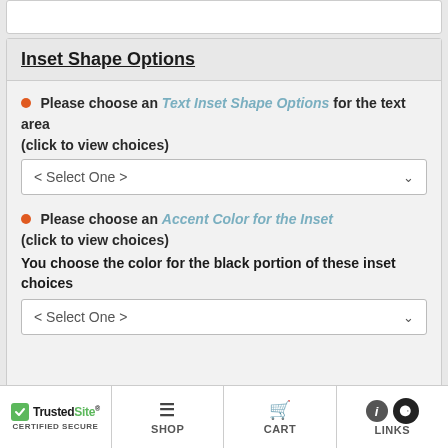Inset Shape Options
Please choose an Text Inset Shape Options for the text area (click to view choices)
Please choose an Accent Color for the Inset (click to view choices) You choose the color for the black portion of these inset choices
TrustedSite CERTIFIED SECURE | SHOP | CART | LINKS